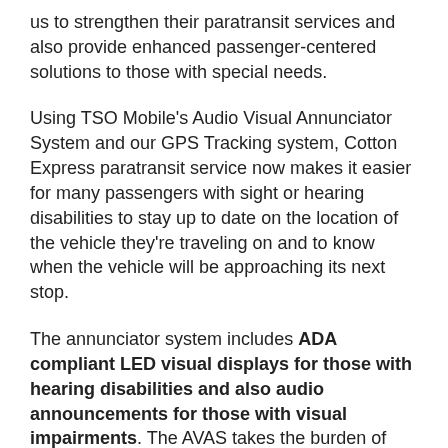us to strengthen their paratransit services and also provide enhanced passenger-centered solutions to those with special needs.
Using TSO Mobile's Audio Visual Annunciator System and our GPS Tracking system, Cotton Express paratransit service now makes it easier for many passengers with sight or hearing disabilities to stay up to date on the location of the vehicle they’re traveling on and to know when the vehicle will be approaching its next stop.
The annunciator system includes ADA compliant LED visual displays for those with hearing disabilities and also audio announcements for those with visual impairments. The AVAS takes the burden of making announcements about upcoming stops off drivers, making it safer and easier for them to focus on the